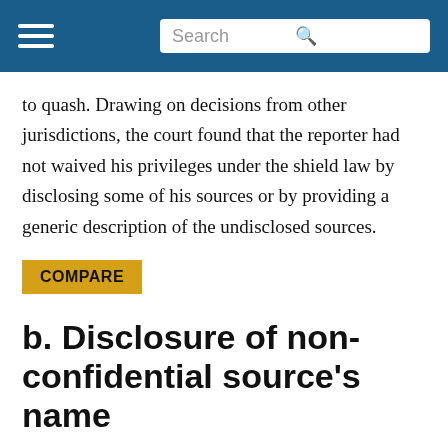Search
to quash. Drawing on decisions from other jurisdictions, the court found that the reporter had not waived his privileges under the shield law by disclosing some of his sources or by providing a generic description of the undisclosed sources.
COMPARE
b. Disclosure of non-confidential source's name
In Fischer v. McGowan, 585 F. Supp. 978 (D.R.I.